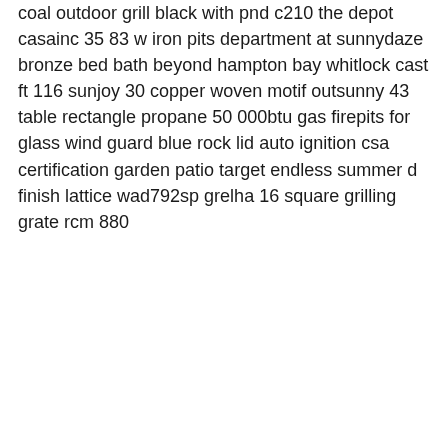coal outdoor grill black with pnd c210 the depot casainc 35 83 w iron pits department at sunnydaze bronze bed bath beyond hampton bay whitlock cast ft 116 sunjoy 30 copper woven motif outsunny 43 table rectangle propane 50 000btu gas firepits for glass wind guard blue rock lid auto ignition csa certification garden patio target endless summer d finish lattice wad792sp grelha 16 square grilling grate rcm 880